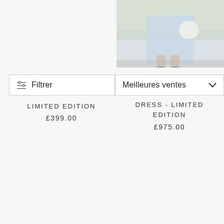[Figure (photo): Fashion product photo showing a person in a light blue dress holding a white bag, standing on a pavement, cropped to show lower body]
[Figure (screenshot): Filter button with sliders icon and text 'Filtrer' in a bordered box]
[Figure (screenshot): Sort dropdown with text 'Meilleures ventes' and chevron down icon in a bordered box]
LIMITED EDITION
£399.00
DRESS - LIMITED EDITION
£975.00